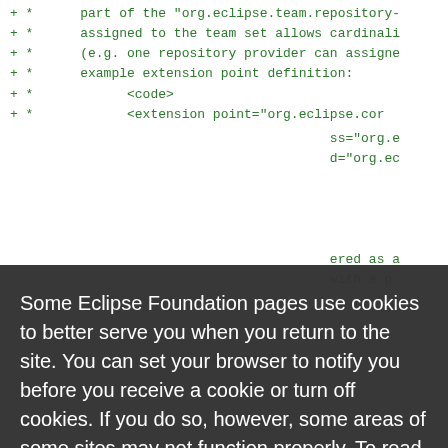+ *      part of the "org.eclipse.team.repository-
+ *      assigned to the team set allows cardinali
+ *      (e.g. one repository provider can assigne
+ *      example extension point definition:
+ *            <code>
+ *            <extension point="org.eclipse.cor
Some Eclipse Foundation pages use cookies to better serve you when you return to the site. You can set your browser to notify you before you receive a cookie or turn off cookies. If you do so, however, some areas of some sites may not function properly. To read Eclipse Foundation Privacy Policy
click here.
Decline
Allow cookies
@since 2.0